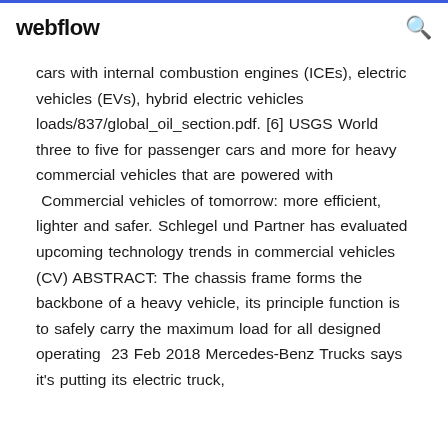webflow
cars with internal combustion engines (ICEs), electric vehicles (EVs), hybrid electric vehicles loads/837/global_oil_section.pdf. [6] USGS World three to five for passenger cars and more for heavy commercial vehicles that are powered with  Commercial vehicles of tomorrow: more efficient, lighter and safer. Schlegel und Partner has evaluated upcoming technology trends in commercial vehicles (CV) ABSTRACT: The chassis frame forms the backbone of a heavy vehicle, its principle function is to safely carry the maximum load for all designed operating  23 Feb 2018 Mercedes-Benz Trucks says it's putting its electric truck, the